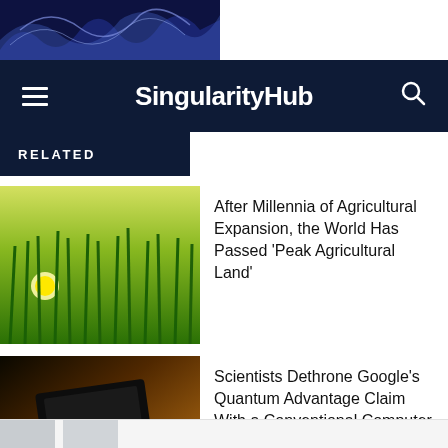[Figure (photo): Abstract blue swirling shapes on dark background - top strip image]
SingularityHub
RELATED
[Figure (photo): Green wheat field with glowing light at sunset]
After Millennia of Agricultural Expansion, the World Has Passed ‘Peak Agricultural Land’
[Figure (photo): Colorful quantum computer chip with rainbow iridescent colors]
Scientists Dethrone Google’s Quantum Advantage Claim With a Conventional Computer
[Figure (photo): Circular object resembling a caduceus or snake coil on light background]
The World Is Awful. The World Is Much Better. The World Can Be Much Better.